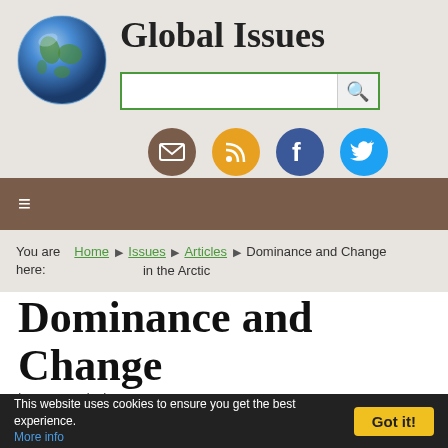[Figure (logo): Globe icon for Global Issues website, blue Earth sphere]
Global Issues
[Figure (screenshot): Search bar with green border and magnifying glass icon]
[Figure (infographic): Four social media icons: email (brown), RSS (orange), Facebook (blue), Twitter (light blue)]
≡
You are here: Home ▶ Issues ▶ Articles ▶ Dominance and Change in the Arctic
Dominance and Change in the Arctic
by Anup Shah
This page last updated Sunday, June 06, 2010
This website uses cookies to ensure you get the best experience. More info